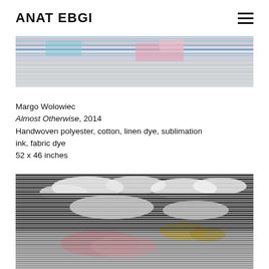ANAT EBGI
[Figure (photo): Top portion of a handwoven textile artwork showing colorful horizontal woven stripes with pink, blue, and teal colors visible at the top edge]
Margo Wolowiec
Almost Otherwise, 2014
Handwoven polyester, cotton, linen dye, sublimation ink, fabric dye
52 x 46 inches
[Figure (photo): Handwoven textile artwork showing a landscape-like composition with white cloud-like forms against dark horizontal woven stripes, with pink and yellow color accents in lower portion]